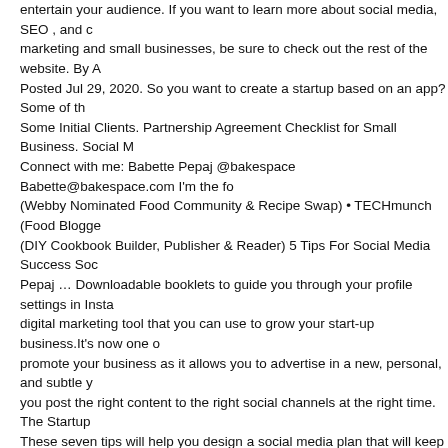entertain your audience. If you want to learn more about social media, SEO , and content marketing and small businesses, be sure to check out the rest of the website. By A Posted Jul 29, 2020. So you want to create a startup based on an app? Some of th Some Initial Clients. Partnership Agreement Checklist for Small Business. Social M Connect with me: Babette Pepaj @bakespace Babette@bakespace.com I'm the fo (Webby Nominated Food Community & Recipe Swap) • TECHmunch (Food Blogge (DIY Cookbook Builder, Publisher & Reader) 5 Tips For Social Media Success Soc Pepaj … Downloadable booklets to guide you through your profile settings in Insta digital marketing tool that you can use to grow your start-up business.It's now one o promote your business as it allows you to advertise in a new, personal, and subtle y you post the right content to the right social channels at the right time. The Startup These seven tips will help you design a social media plan that will keep you on trac practice advice . One of our social media executives has created a complete social new businesses. Beth Wingate's Social Media Checklist, Hints, and Tips Beth Wing AppMaven@LohfeldConsulting.com AppMaven's Social Media Startup Checklist – one platform to start Pick one platform to concentrate on (I suggest developing you Create a social media calendar. You can find pre-made business templates for eve EventPlanningTemplates.com. Starting a social media business can never be much applications are now available to aid you with setting up a social media business. O content, it is pivotal that you share this information with your audience consistently. to learn from Coors Light #CouldUseABeer. With that being said, the best tools ava social media accounts. Once your business is up and running it's time to market it t process outlined in each checklist. If no one sees or hears much about your new b